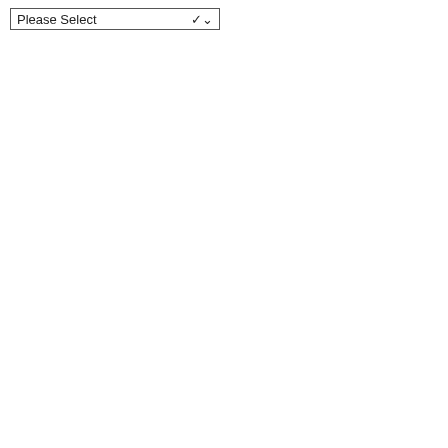[Figure (screenshot): A dropdown select box with the placeholder text 'Please Select' and a downward-pointing chevron arrow on the right side, rendered with a thin border.]